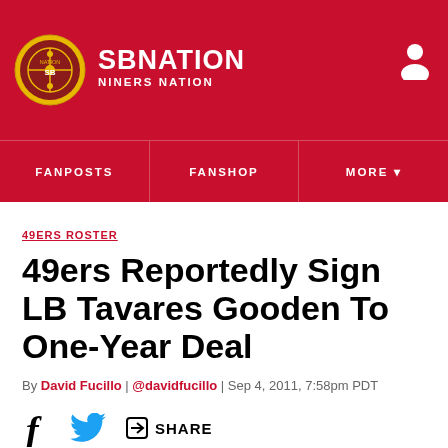SB NATION | NINERS NATION
FANPOSTS | FANSHOP | MORE
49ERS ROSTER
49ers Reportedly Sign LB Tavares Gooden To One-Year Deal
By David Fucillo | @davidfucillo | Sep 4, 2011, 7:58pm PDT
SHARE